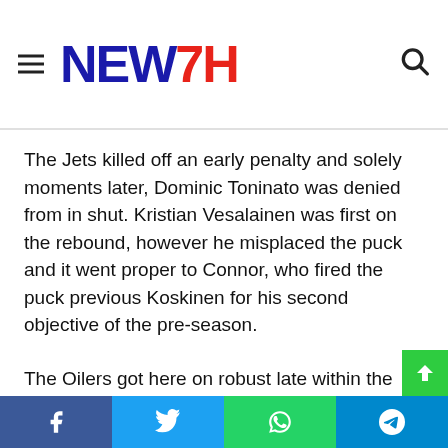NEW7H
The Jets killed off an early penalty and solely moments later, Dominic Toninato was denied from in shut. Kristian Vesalainen was first on the rebound, however he misplaced the puck and it went proper to Connor, who fired the puck previous Koskinen for his second objective of the pre-season.
The Oilers got here on robust late within the opening stanza. A dashing McDavid took the go and went in alone, however he simply missed the goal, hitting the facet of the online.
Edmonton quickly went again on the person benefit although and Draisaitl threw the puck in direction of the online from